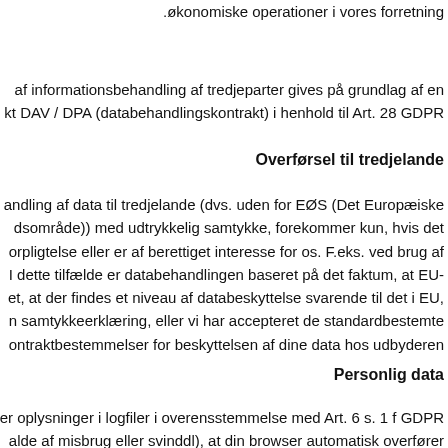.økonomiske operationer i vores forretning
af informationsbehandling af tredjeparter gives på grundlag af en kt DAV / DPA (databehandlingskontrakt) i henhold til Art. 28 GDPR
Overførsel til tredjelande
andling af data til tredjelande (dvs. uden for EØS (Det Europæiske dsområde)) med udtrykkelig samtykke, forekommer kun, hvis det orpligtelse eller er af berettiget interesse for os. F.eks. ved brug af I dette tilfælde er databehandlingen baseret på det faktum, at EU-et, at der findes et niveau af databeskyttelse svarende til det i EU, n samtykkeerklæring, eller vi har accepteret de standardbestemte ontraktbestemmelser for beskyttelsen af dine data hos udbyderen
Personlig data
er oplysninger i logfiler i overensstemmelse med Art. 6 s. 1 f GDPR alde af misbrug eller svinddl), at din browser automatisk overfører